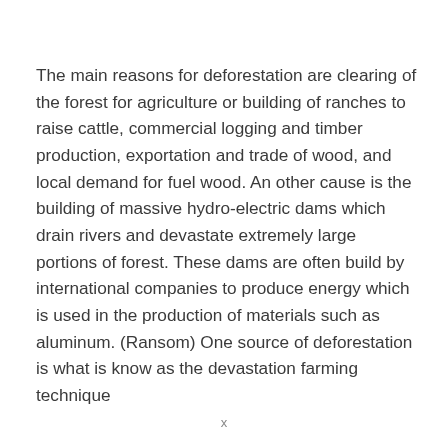The main reasons for deforestation are clearing of the forest for agriculture or building of ranches to raise cattle, commercial logging and timber production, exportation and trade of wood, and local demand for fuel wood. An other cause is the building of massive hydro-electric dams which drain rivers and devastate extremely large portions of forest. These dams are often build by international companies to produce energy which is used in the production of materials such as aluminum. (Ransom) One source of deforestation is what is know as the devastation farming technique
x